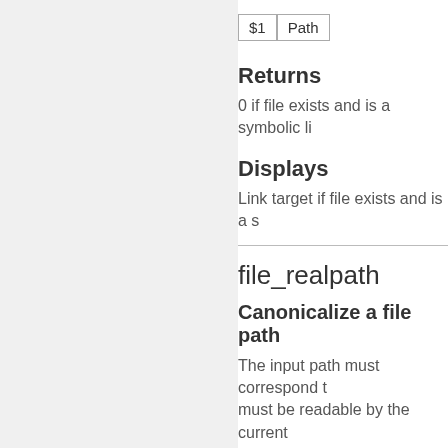| $1 | Path |
| --- | --- |
Returns
0 if file exists and is a symbolic li
Displays
Link target if file exists and is a s
file_realpath
Canonicalize a file path
The input path must correspond to a file that must be readable by the current
This function preserves the curre
Arguments
| $1 | Path |
| --- | --- |